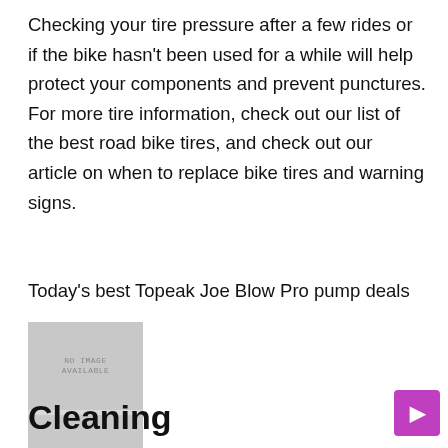Checking your tire pressure after a few rides or if the bike hasn't been used for a while will help protect your components and prevent punctures. For more tire information, check out our list of the best road bike tires, and check out our article on when to replace bike tires and warning signs.
Today's best Topeak Joe Blow Pro pump deals
[Figure (photo): Placeholder image block showing two 'NO IMAGE AVAILABLE' grey rectangles stacked vertically]
Cleaning